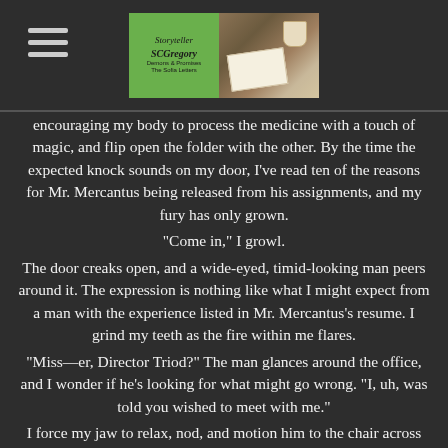Storyteller SCGregory — Demons & Promises: The Sofia Letters
encouraging my body to process the medicine with a touch of magic, and flip open the folder with the other. By the time the expected knock sounds on my door, I've read ten of the reasons for Mr. Mercantus being released from his assignments, and my fury has only grown.
"Come in," I growl.
The door creaks open, and a wide-eyed, timid-looking man peers around it. The expression is nothing like what I might expect from a man with the experience listed in Mr. Mercantus's resume. I grind my teeth as the fire within me flares.
"Miss—er, Director Triod?" The man glances around the office, and I wonder if he's looking for what might go wrong. "I, uh, was told you wished to meet with me."
I force my jaw to relax, nod, and motion him to the chair across the yew desk from me. This man—this Balasi M...